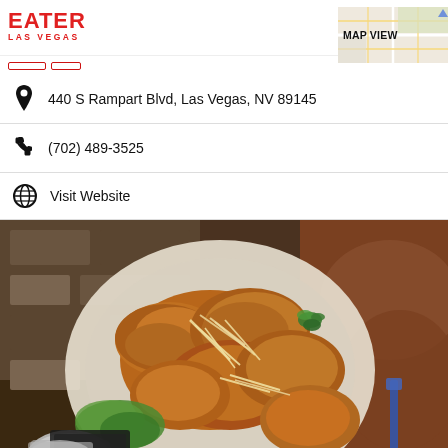EATER LAS VEGAS
MAP VIEW
440 S Rampart Blvd, Las Vegas, NV 89145
(702) 489-3525
Visit Website
[Figure (photo): Overhead close-up photo of a plate of crispy fried chicken wings garnished with shredded cheese and herbs, set on a table with a stone wall background]